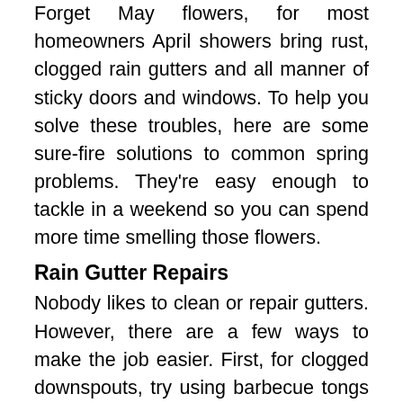Forget May flowers, for most homeowners April showers bring rust, clogged rain gutters and all manner of sticky doors and windows. To help you solve these troubles, here are some sure-fire solutions to common spring problems. They're easy enough to tackle in a weekend so you can spend more time smelling those flowers.
Rain Gutter Repairs
Nobody likes to clean or repair gutters. However, there are a few ways to make the job easier. First, for clogged downspouts, try using barbecue tongs to reach in and pull the leaves out. This doesn't always work but considering the alternative — using a hose to flush the